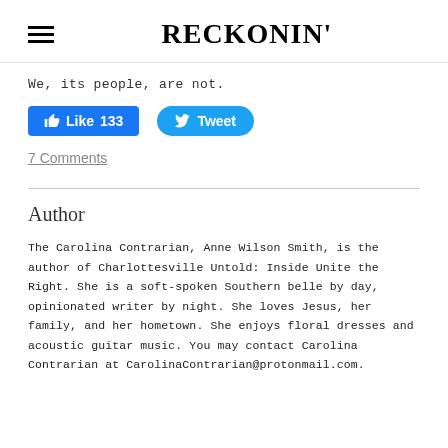RECKONIN'
We, its people, are not.
[Figure (other): Facebook Like button showing 133 likes and Twitter Tweet button]
7 Comments
Author
The Carolina Contrarian, Anne Wilson Smith, is the author of Charlottesville Untold: Inside Unite the Right. She is a soft-spoken Southern belle by day, opinionated writer by night. She loves Jesus, her family, and her hometown. She enjoys floral dresses and acoustic guitar music. You may contact Carolina Contrarian at CarolinaContrarian@protonmail.com.